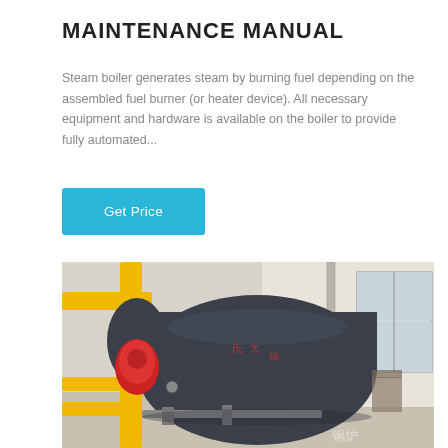MAINTENANCE MANUAL
Steam boiler generates steam by burning fuel depending on the assembled fuel burner (or heater device). All necessary equipment and hardware is available on the boiler to provide fully automated...
[Figure (other): A cyan/blue 'Get Price' button]
[Figure (photo): Photo of an industrial steam boiler with yellow gas pipes, a dark cylindrical boiler body with Chinese text, a red burner, and a windowed room in the background. A WhatsApp call-to-action button overlaid at the bottom left showing a phone icon and 'WhatsApp' text on a green background.]